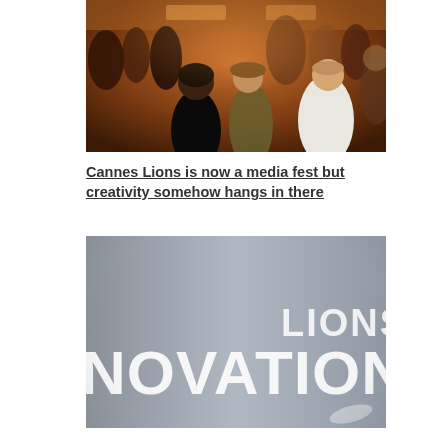[Figure (photo): Crowd of people at an indoor event, warm orange/amber lighting, people socializing in a busy venue]
Cannes Lions is now a media fest but creativity somehow hangs in there
[Figure (photo): Lions Innovation logo/signage: large white text 'NOVATION' and 'LIONS' on grey/silver background]